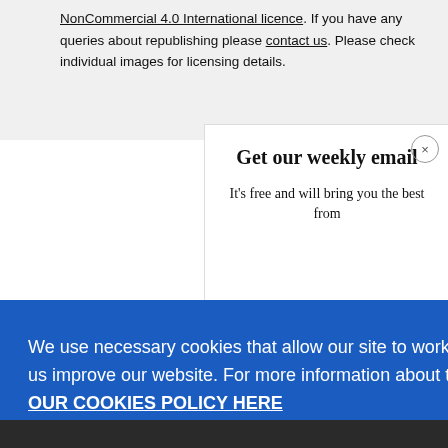NonCommercial 4.0 International licence. If you have any queries about republishing please contact us. Please check individual images for licensing details.
Get our weekly email
It's free and will bring you the best from
We use necessary cookies that allow our site to work. We also set optional cookies that help us improve our website. For more information about the types of cookies we use. READ OUR COOKIES POLICY HERE
COOKIE
ALLOW
Abolition - what does it really mean?
3 days ago
S
data.